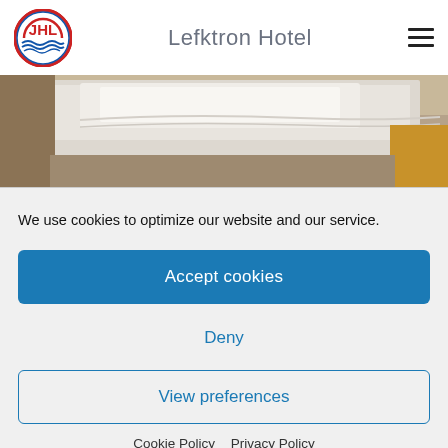Lefktron Hotel
[Figure (photo): Hotel room photo showing a bed with white linens and bedside furniture]
We use cookies to optimize our website and our service.
Accept cookies
Deny
View preferences
Cookie Policy   Privacy Policy